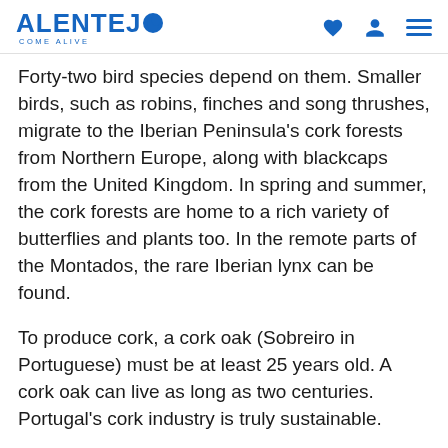ALENTEJO COME ALIVE
Forty-two bird species depend on them. Smaller birds, such as robins, finches and song thrushes, migrate to the Iberian Peninsula's cork forests from Northern Europe, along with blackcaps from the United Kingdom. In spring and summer, the cork forests are home to a rich variety of butterflies and plants too. In the remote parts of the Montados, the rare Iberian lynx can be found.
To produce cork, a cork oak (Sobreiro in Portuguese) must be at least 25 years old. A cork oak can live as long as two centuries. Portugal's cork industry is truly sustainable.
Because of the Montados the Alentejo is a rural and